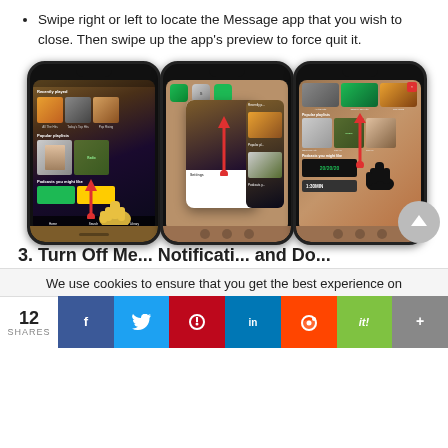Swipe right or left to locate the Message app that you wish to close. Then swipe up the app's preview to force quit it.
[Figure (screenshot): Three iPhone screenshots showing the app switcher with Spotify open, demonstrating swipe-up gesture to force quit an app. Each phone shows a different stage: (1) initial swipe-up gesture with yellow hand on Spotify app, (2) app card being swiped up/away, (3) app card fully swiped with hand cursor gesture. Red arrows indicate swipe-up direction.]
3. Turn Off Me... Notificati... and Do...
We use cookies to ensure that you get the best experience on
12 SHARES | Facebook | Twitter | Pinterest | LinkedIn | Reddit | Flipboard | +